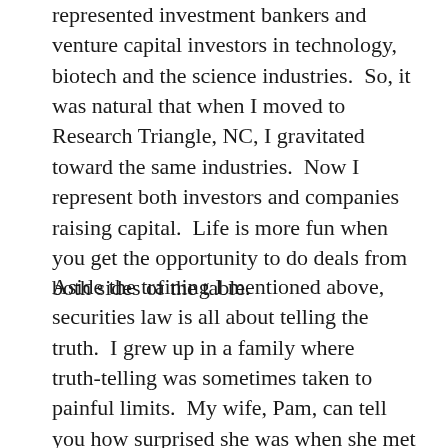represented investment bankers and venture capital investors in technology, biotech and the science industries.  So, it was natural that when I moved to Research Triangle, NC, I gravitated toward the same industries.  Now I represent both investors and companies raising capital.  Life is more fun when you get the opportunity to do deals from both sides of the table.
Aside the training I mentioned above, securities law is all about telling the truth.  I grew up in a family where truth-telling was sometimes taken to painful limits.  My wife, Pam, can tell you how surprised she was when she met her prospective in-laws.  So, by nature or nurture or both, being a securities lawyer suits me.  But that is only part of the picture.